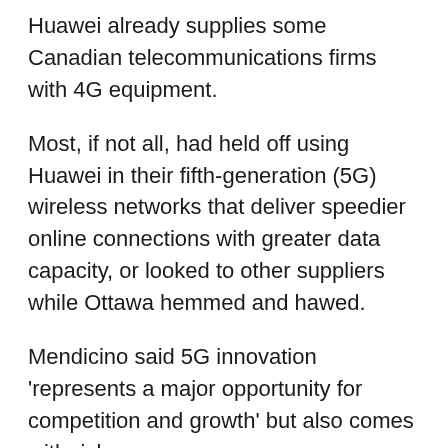Huawei already supplies some Canadian telecommunications firms with 4G equipment.
Most, if not all, had held off using Huawei in their fifth-generation (5G) wireless networks that deliver speedier online connections with greater data capacity, or looked to other suppliers while Ottawa hemmed and hawed.
Mendicino said 5G innovation 'represents a major opportunity for competition and growth' but also comes with risks.
'There are many hostile actors who are ready to exploit vulnerabilities' in